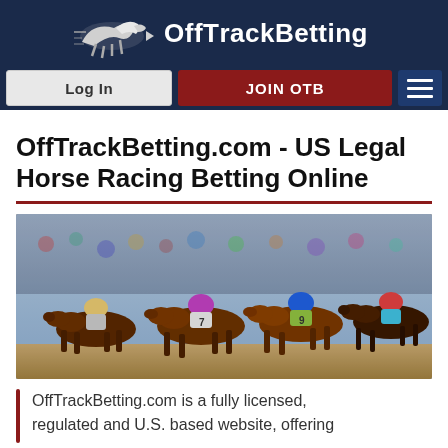OffTrackBetting logo and navigation
OffTrackBetting.com - US Legal Horse Racing Betting Online
[Figure (photo): Multiple jockeys on horses racing closely together, colorful silks, crowd in background]
OffTrackBetting.com is a fully licensed, regulated and U.S. based website, offering